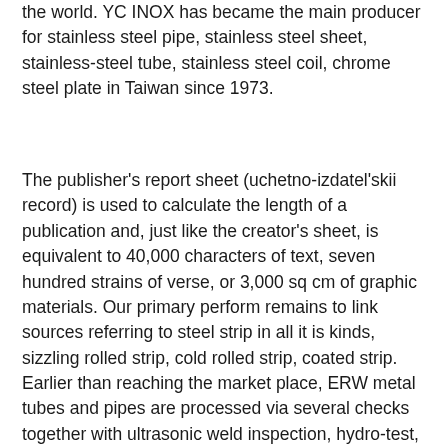the world. YC INOX has became the main producer for stainless steel pipe, stainless steel sheet, stainless-steel tube, stainless steel coil, chrome steel plate in Taiwan since 1973.
The publisher's report sheet (uchetno-izdatel'skii record) is used to calculate the length of a publication and, just like the creator's sheet, is equivalent to 40,000 characters of text, seven hundred strains of verse, or 3,000 sq cm of graphic materials. Our primary perform remains to link sources referring to steel strip in all it is kinds, sizzling rolled strip, cold rolled strip, coated strip. Earlier than reaching the market place, ERW metal tubes and pipes are processed via several checks together with ultrasonic weld inspection, hydro-test, bevel check, micrometer examine, ring gouge and straightness evaluation to ensure its 1 inch square